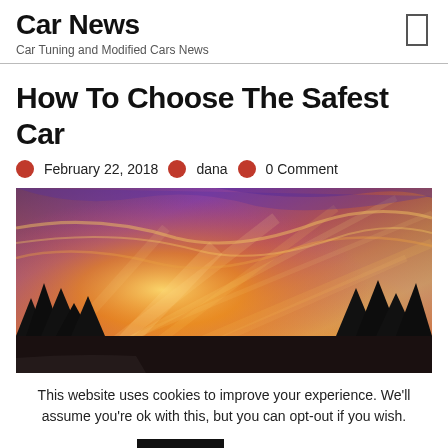Car News
Car Tuning and Modified Cars News
How To Choose The Safest Car
February 22, 2018  dana  0 Comment
[Figure (photo): Dramatic sunset sky with vibrant orange, yellow, purple and blue colors, silhouetted trees along the bottom edge]
This website uses cookies to improve your experience. We'll assume you're ok with this, but you can opt-out if you wish.
Accept  Read More